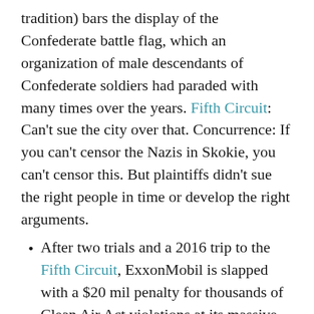tradition) bars the display of the Confederate battle flag, which an organization of male descendants of Confederate soldiers had paraded with many times over the years. Fifth Circuit: Can't sue the city over that. Concurrence: If you can't censor the Nazis in Skokie, you can't censor this. But plaintiffs didn't sue the right people in time or develop the right arguments.
After two trials and a 2016 trip to the Fifth Circuit, ExxonMobil is slapped with a $20 mil penalty for thousands of Clean Air Act violations at its massive Baytown, Tex. complex. But wait! Did the citizens who filed suit have standing? Fifth Circuit: The case must go back to the district court to determine whether each individual violation is fairly